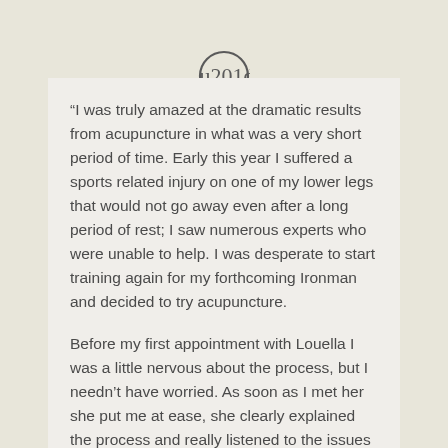[Figure (illustration): Double closing quotation mark icon inside a circle, dark grey stroke on light background]
“I was truly amazed at the dramatic results from acupuncture in what was a very short period of time. Early this year I suffered a sports related injury on one of my lower legs that would not go away even after a long period of rest; I saw numerous experts who were unable to help. I was desperate to start training again for my forthcoming Ironman and decided to try acupuncture.
Before my first appointment with Louella I was a little nervous about the process, but I needn’t have worried. As soon as I met her she put me at ease, she clearly explained the process and really listened to the issues I had been having. I walked away from our first appointment with a feeling of having been